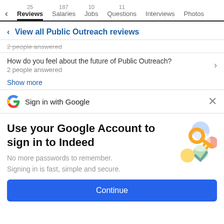25 Reviews  187 Salaries  10 Jobs  11 Questions  Interviews  Photos
View all Public Outreach reviews
2 people answered
How do you feel about the future of Public Outreach?
2 people answered
Show more
Sign in with Google
Use your Google Account to sign in to Indeed
No more passwords to remember.
Signing in is fast, simple and secure.
Continue